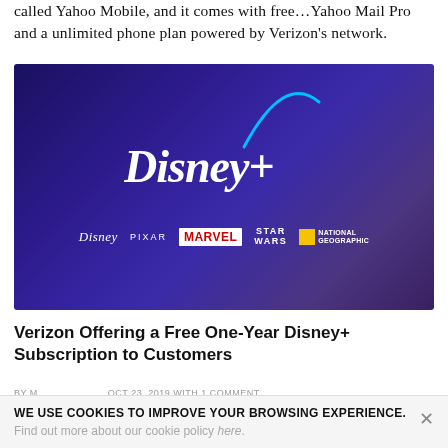called Yahoo Mobile, and it comes with free…Yahoo Mail Pro and a unlimited phone plan powered by Verizon's network.
[Figure (logo): Disney+ promotional banner showing the Disney+ logo with Disney, Pixar, Marvel, Star Wars, and National Geographic sub-brand logos on a dark purple/blue gradient background.]
Verizon Offering a Free One-Year Disney+ Subscription to Customers
BY [author] OCT 23, 2019 WITH 1 COMMENT
WE USE COOKIES TO IMPROVE YOUR BROWSING EXPERIENCE. Find out more about our cookie policy here.